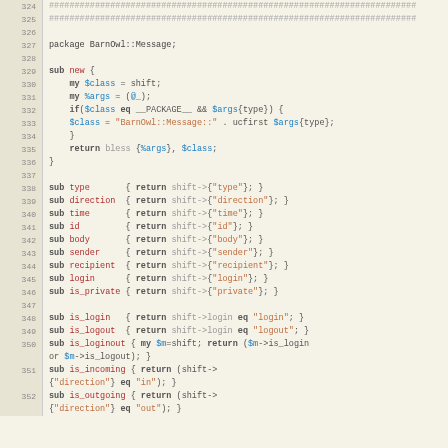[Figure (screenshot): Source code listing of BarnOwl::Message Perl module, lines 324-352, showing sub definitions with syntax highlighting on a tan/beige background]